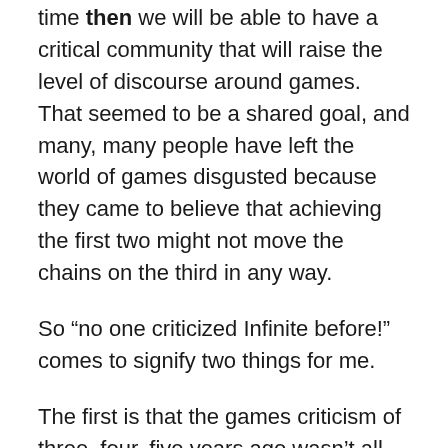time then we will be able to have a critical community that will raise the level of discourse around games. That seemed to be a shared goal, and many, many people have left the world of games disgusted because they came to believe that achieving the first two might not move the chains on the third in any way.
So “no one criticized Infinite before!” comes to signify two things for me.
The first is that the games criticism of three, four, five years ago wasn’t all that successful. We didn’t reach the broad audience, and that’s a bummer, but it’s also not surprising.
The second is that something has changed. If the world were the same way it was three years ago, the people